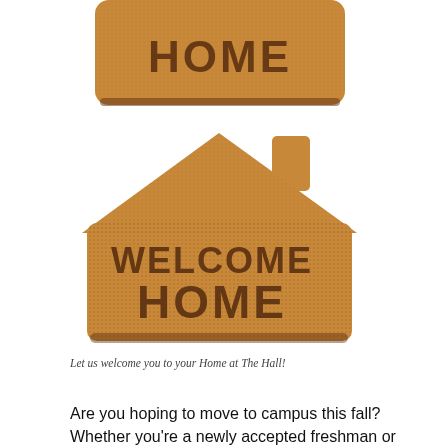[Figure (photo): A rectangular brown coir doormat with rounded corners showing the word HOME embossed in dark brown letters, partial view cropped at top]
[Figure (photo): A house-shaped brown coir doormat with the words WELCOME HOME embossed in dark brown letters]
Let us welcome you to your Home at The Hall!
Are you hoping to move to campus this fall? Whether you're a newly accepted freshman or transfer (congrats, btw!) or a current Pirate